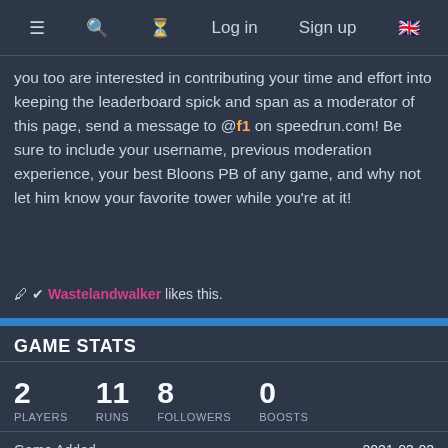≡  🔍  ⏱  Log in  Sign up  🇬🇧
you too are interested in contributing your time and effort into keeping the leaderboard spick and span as a moderator of this page, send a message to @f1 on speedrun.com! Be sure to include your username, previous moderation experience, your best Bloons PB of any game, and why not let him know your favorite tower while you're at it!
🖊 ✔ Wastelandwalker likes this.
GAME STATS
| Metric | Value |
| --- | --- |
| PLAYERS | 2 |
| RUNS | 11 |
| FOLLOWERS | 8 |
| BOOSTS | 0 |
| Game Added | 2021-03-03 |
| Total Run Time | 2:49:32 |
| Players (Total / Active) | 2 / 0 |